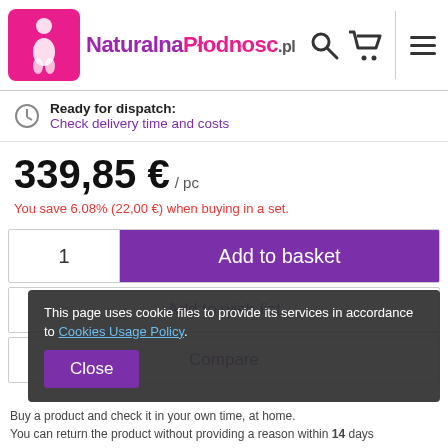[Figure (logo): NaturalnaPłodnosc.pl website header with logo, search icon, cart icon, and menu icon]
Ready for dispatch:
Check delivery time and costs
339,85 € / pc
You save 6.08% (22,00 €) when buying in a set.
1   Add to basket
Add to wish list
Compare
This page uses cookie files to provide its services in accordance to Cookies Usage Policy.
Close
Buy a product and check it in your own time, at home.
You can return the product without providing a reason within 14 days